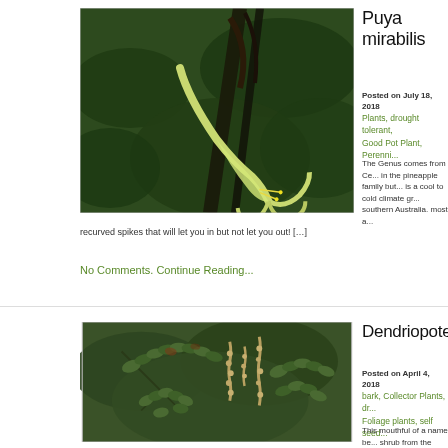[Figure (photo): Close-up photo of Puya mirabilis pale green tubular flower against dark green foliage background]
Puya mirabilis
Posted on July 18, 2018
Plants, drought tolerant, Good Pot Plant, Perenni...
The Genus comes from Ce... in the pineapple family but... is a cool to cold climate gr... southern Australia. most a... recurved spikes that will let you in but not let you out! [...]
No Comments. Continue Reading...
[Figure (photo): Photo of Dendriopoterium shrub with compound leaves and catkin-like flower clusters]
Dendriopoteriu...
Posted on April 4, 2018
bark, Collector Plants, dr... Foliage plants, self seed...
This mouthful of a name be... shrub from the Canary Isla...